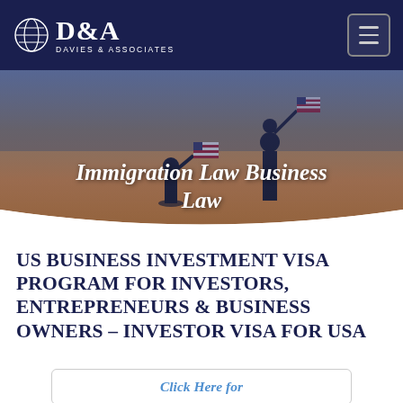D&A Davies & Associates
[Figure (photo): Silhouette of two people holding American flags against a warm sunset sky, with rounded bottom edge overlay]
Immigration Law Business Law
US BUSINESS INVESTMENT VISA PROGRAM FOR INVESTORS, ENTREPRENEURS & BUSINESS OWNERS – INVESTOR VISA FOR USA
Click Here for